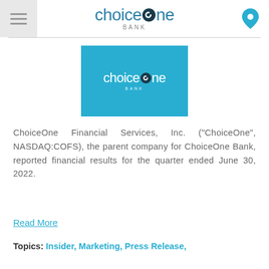ChoiceOne Bank
[Figure (logo): ChoiceOne Bank logo on blue background]
ChoiceOne Financial Services, Inc. ("ChoiceOne", NASDAQ:COFS), the parent company for ChoiceOne Bank, reported financial results for the quarter ended June 30, 2022.
Read More
Topics: Insider, Marketing, Press Release,